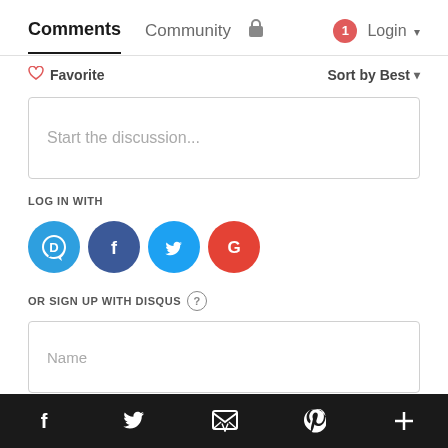Comments   Community   (lock)   1   Login
♡ Favorite   Sort by Best
Start the discussion...
LOG IN WITH
[Figure (infographic): Four social login icons: Disqus (blue), Facebook (dark blue), Twitter (light blue), Google (red)]
OR SIGN UP WITH DISQUS ?
Name
Be the first to comment.
f (Facebook)   (Twitter bird)   (envelope)   (Pinterest)   +